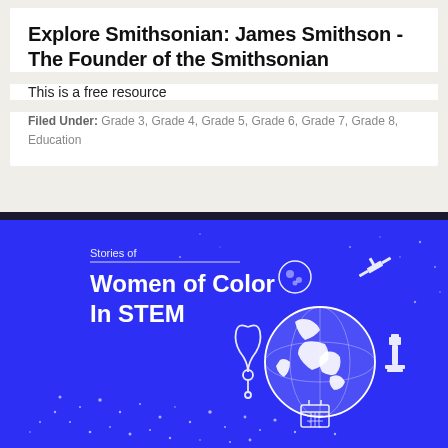Explore Smithsonian: James Smithson - The Founder of the Smithsonian
This is a free resource
Filed Under: Grade 3, Grade 4, Grade 5, Grade 6, Grade 7, Grade 8, Education
[Figure (illustration): Blue promotional graphic with title 'Stories of Women of Color In STEM'. Features white illustrations of a globe, satellite, stethoscope, microscope, and other STEM-related icons on a deep blue background with a starry dotted pattern at the bottom.]